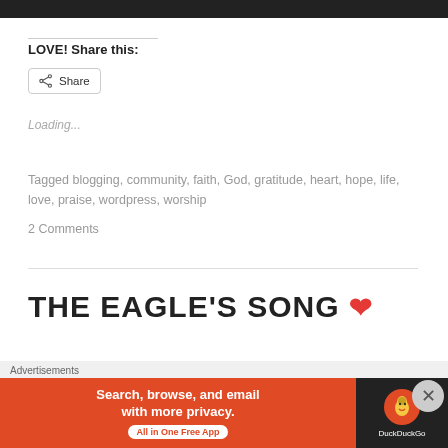[Figure (photo): Top image strip showing a dark/black image cropped at the top of the page]
LOVE! Share this:
[Figure (other): Share button with share icon and text 'Share']
Loading...
Tagged blogging, community, faith, God, gratitude, heart, hope, life, love, praise, wordpress, worship
2 Comments
THE EAGLE'S SONG ❤
[Figure (other): Advertisement banner for DuckDuckGo: 'Search, browse, and email with more privacy. All in One Free App']